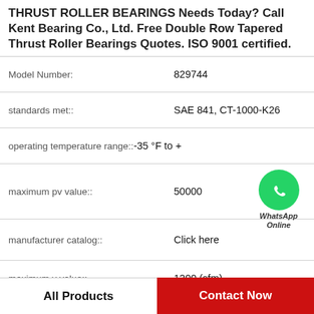THRUST ROLLER BEARINGS Needs Today? Call Kent Bearing Co., Ltd. Free Double Row Tapered Thrust Roller Bearings Quotes. ISO 9001 certified.
| Field | Value |
| --- | --- |
| Model Number: | 829744 |
| standards met:: | SAE 841, CT-1000-K26 |
| operating temperature range:: | -35 °F to + |
| maximum pv value:: | 50000 |
| manufacturer catalog:: | Click here |
| maximum v value:: | 1200 (sfm) |
| overall length:: | 3/8 in |
| material specification:: | Oilite®, Synthet |
[Figure (logo): WhatsApp Online green circle icon with phone handset, with text 'WhatsApp Online' below]
All Products
Contact Now